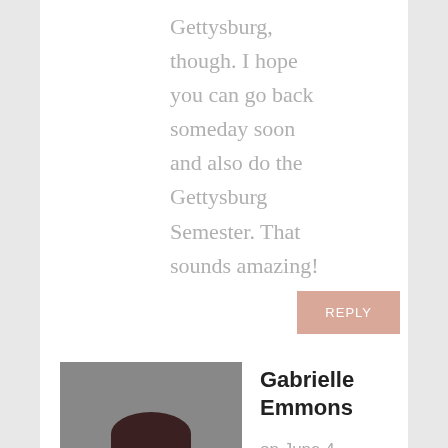Gettysburg, though. I hope you can go back someday soon and also do the Gettysburg Semester. That sounds amazing!
REPLY
[Figure (photo): Profile photo of Gabrielle Emmons, a woman with glasses and dark hair, wearing a maroon top, smiling against a gray background.]
Gabrielle Emmons
on June 4, 2014 at 9:37